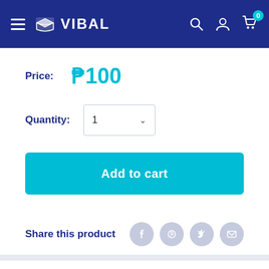VIBAL — navigation header with menu, logo, search, account, cart (0)
Price: ₱100
Quantity: 1
Add to cart
Share this product
Description